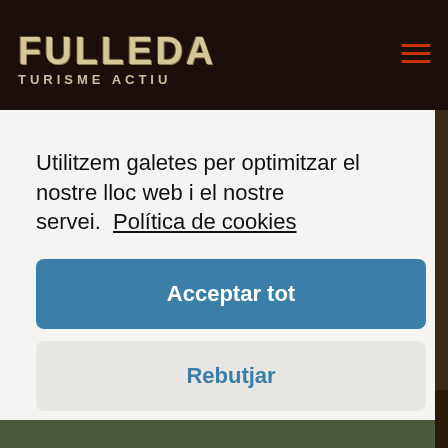FULLEDA TURISME ACTIU
Utilitzem galetes per optimitzar el nostre lloc web i el nostre servei.  Política de cookies
Acceptar tot
Rebutjar
Preferències